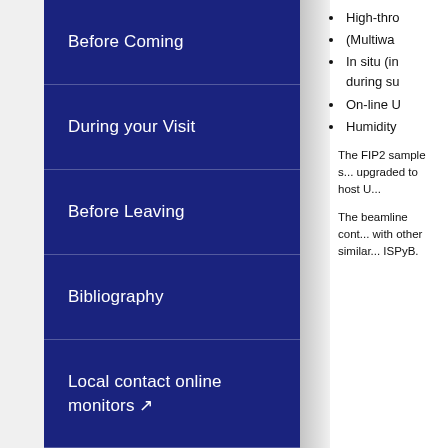Before Coming
During your Visit
Before Leaving
Bibliography
Local contact online monitors ↗
High-thro...
(Multiwa...
In situ (in... during su...
On-line U...
Humidity...
The FIP2 sample s... upgraded to host U...
The beamline cont... with other similar... ISPyB.